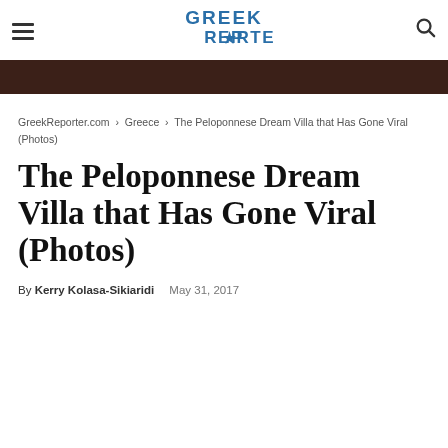Greek Reporter
GreekReporter.com › Greece › The Peloponnese Dream Villa that Has Gone Viral (Photos)
The Peloponnese Dream Villa that Has Gone Viral (Photos)
By Kerry Kolasa-Sikiaridi  May 31, 2017